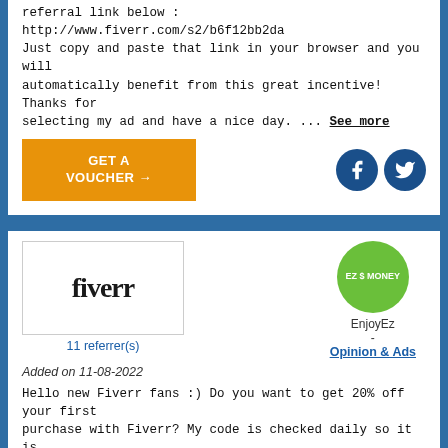referral link below : http://www.fiverr.com/s2/b6f12bb2da Just copy and paste that link in your browser and you will automatically benefit from this great incentive! Thanks for selecting my ad and have a nice day. ... See more
[Figure (other): Orange GET A VOUCHER button with arrow and two dark blue social media circles (Facebook and Twitter)]
[Figure (logo): Fiverr logo inside a bordered box, with '11 referrer(s)' below in blue]
[Figure (other): EZ Money green circle logo with EnjoyEz name and Opinion & Ads link below]
Added on 11-08-2022
Hello new Fiverr fans :) Do you want to get 20% off your first purchase with Fiverr? My code is checked daily so it is working 100% Enjoy the great Fiverr service with 20% off http://www.fiverr.com/s2/0978bc4480  enjoy :) http://www.fiverr.com/s2/0978bc4480  ... See more
[Figure (other): Orange GET A VOUCHER button with arrow and two dark blue social media circles (Facebook and Twitter)]